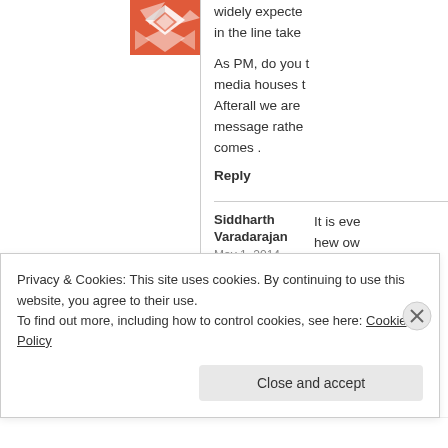[Figure (logo): Orange geometric/quilt pattern logo in top center-left area]
widely expecte in the line take
As PM, do you t media houses t Afterall we are message rathe comes .
Reply
Siddharth Varadarajan
May 1, 2014
It is eve hew ow not to g ar. th
Privacy & Cookies: This site uses cookies. By continuing to use this website, you agree to their use.
To find out more, including how to control cookies, see here: Cookie Policy
Close and accept